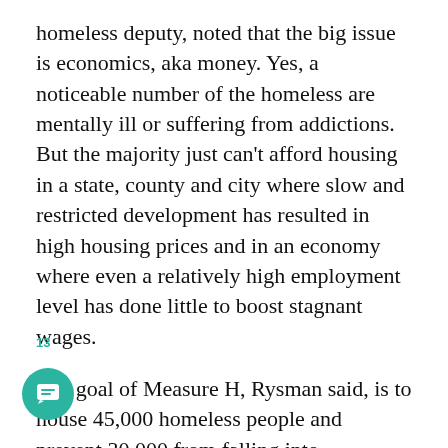homeless deputy, noted that the big issue is economics, aka money. Yes, a noticeable number of the homeless are mentally ill or suffering from addictions. But the majority just can't afford housing in a state, county and city where slow and restricted development has resulted in high housing prices and in an economy where even a relatively high employment level has done little to boost stagnant wages.
The goal of Measure H, Rysman said, is to house 45,000 homeless people and prevent 30,000 from falling into homelessness. However, she added, there's no way to guarantee that that expenditure of more than a billion dollars over 10 years will result in a drop in homelessness so long as wages stay stagnate and housing costs keep going up.
13
What can we do about that? Solving the problem takes